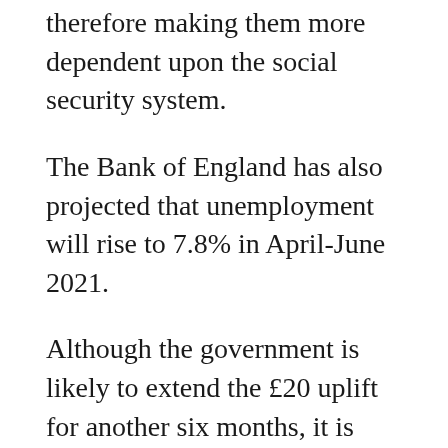therefore making them more dependent upon the social security system.
The Bank of England has also projected that unemployment will rise to 7.8% in April-June 2021.
Although the government is likely to extend the £20 uplift for another six months, it is unknown if it will be withdrawn after six months.
To withdraw the uplift would not only push people deeper into poverty it will also hamper financial recovery for the lowest income families. If the uplift is withdrawn November there will be an estimated additional 1.2 million